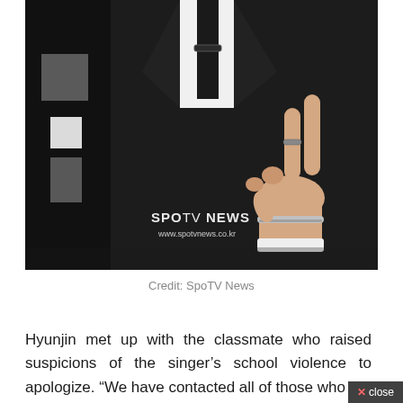[Figure (photo): Photo of a person in a black suit and white shirt with a black tie, wearing a silver ring and chain bracelet, making a peace/V sign with their hand. SPOTV NEWS watermark and www.spotvnews.co.kr URL visible on the image.]
Credit: SpoTV News
Hyunjin met up with the classmate who raised suspicions of the singerâs school violence to apologize. âWe have contacted all of those who